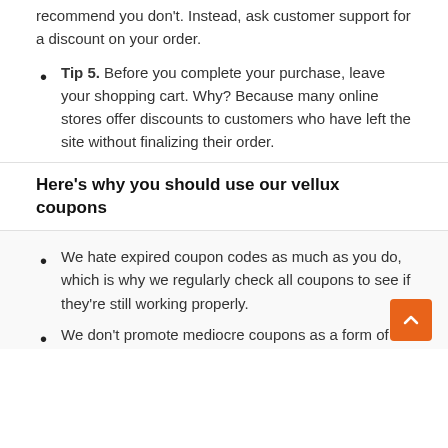recommend you don't. Instead, ask customer support for a discount on your order.
Tip 5. Before you complete your purchase, leave your shopping cart. Why? Because many online stores offer discounts to customers who have left the site without finalizing their order.
Here's why you should use our vellux coupons
We hate expired coupon codes as much as you do, which is why we regularly check all coupons to see if they're still working properly.
We don't promote mediocre coupons as a form of